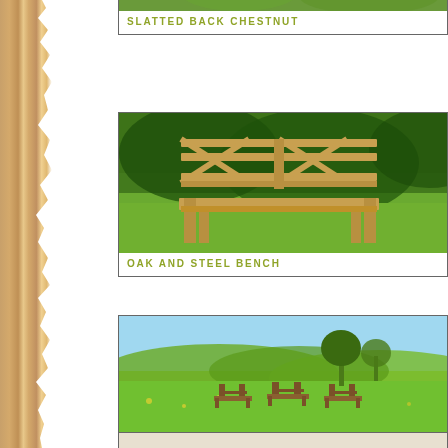[Figure (photo): Torn wood/bark texture strip on the left side of the page]
[Figure (photo): Product card showing SLATTED BACK CHESTNUT bench, partially cropped at top]
[Figure (photo): Product card showing OAK AND STEEL BENCH - wooden bench with geometric cross-pattern back in a garden setting]
[Figure (photo): Product card showing CHESTNUT AND OAK BENCH - benches in an open green field with hills in background]
[Figure (photo): Partial product card at bottom of page, cropped]